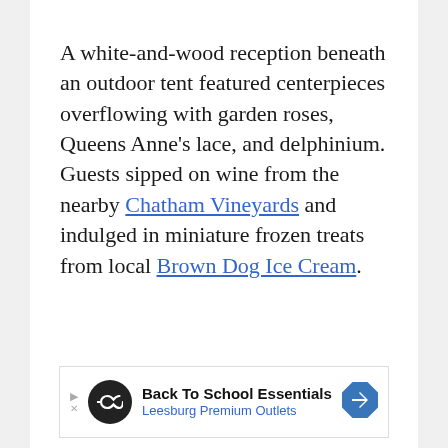A white-and-wood reception beneath an outdoor tent featured centerpieces overflowing with garden roses, Queens Anne's lace, and delphinium. Guests sipped on wine from the nearby Chatham Vineyards and indulged in miniature frozen treats from local Brown Dog Ice Cream.
[Figure (other): Advertisement banner for Leesburg Premium Outlets - Back To School Essentials, with a black circular logo showing infinity/glasses icon and a blue diamond navigation arrow icon on the right.]